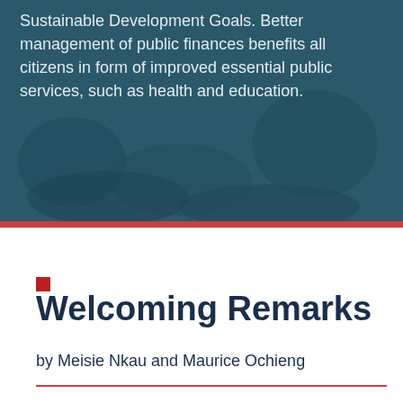[Figure (photo): Dark teal-toned hero image of coins and hands, overlaid with white text about Sustainable Development Goals and public finance.]
Sustainable Development Goals. Better management of public finances benefits all citizens in form of improved essential public services, such as health and education.
Welcoming Remarks
by Meisie Nkau and Maurice Ochieng
[Figure (photo): Light grey placeholder image box at the bottom of the page.]